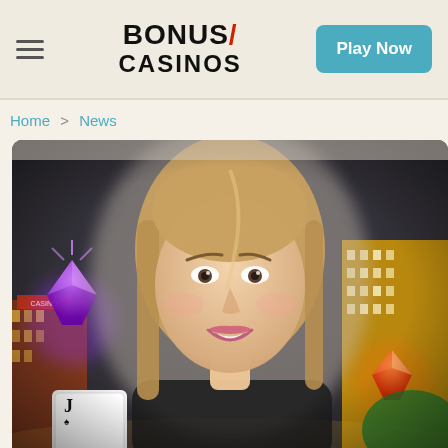BONUS/ CASINOS | Play Now
Home > News
[Figure (photo): A smiling young woman with long blonde-brown hair posing against a casino background featuring Las Vegas-style buildings, playing cards (Jack visible), glowing gems/crystals, and city lights at night.]